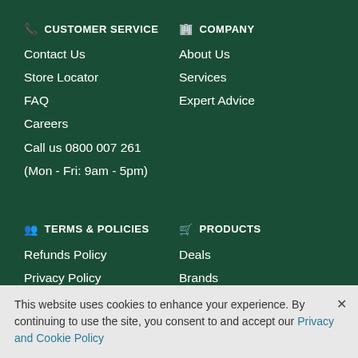CUSTOMER SERVICE
Contact Us
Store Locator
FAQ
Careers
Call us 0800 007 261
(Mon - Fri: 9am - 5pm)
COMPANY
About Us
Services
Expert Advice
TERMS & POLICIES
Refunds Policy
Privacy Policy
Delivery Policy
PRODUCTS
Deals
Brands
Gift Cards
This website uses cookies to enhance your experience. By continuing to use the site, you consent to and accept our Privacy and Cookie Policy